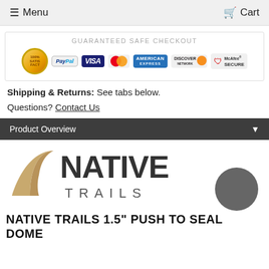Menu   Cart
[Figure (infographic): Guaranteed Safe Checkout banner with payment icons: Satisfaction seal, PayPal, VISA, MasterCard, American Express, Discover, McAfee SECURE]
Shipping & Returns: See tabs below.
Questions? Contact Us
Product Overview
[Figure (logo): Native Trails logo with tan/gold curved path shape and dark circle accent]
NATIVE TRAILS 1.5" PUSH TO SEAL DOME